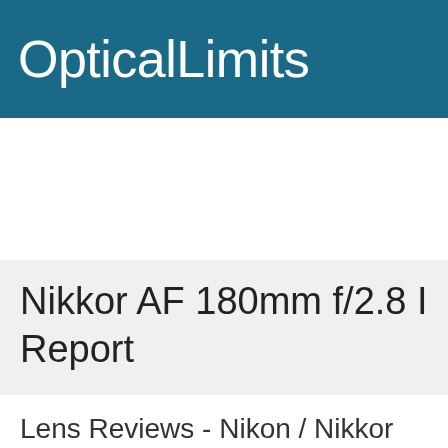OpticalLimits
Nikkor AF 180mm f/2.8 I... Report
Lens Reviews - Nikon / Nikkon